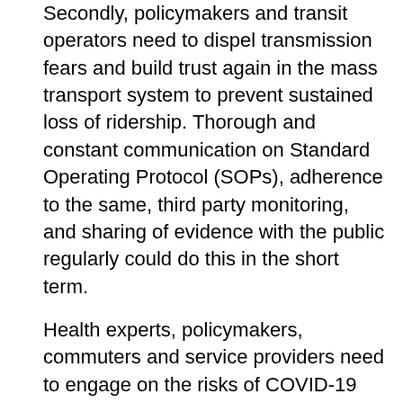Secondly, policymakers and transit operators need to dispel transmission fears and build trust again in the mass transport system to prevent sustained loss of ridership. Thorough and constant communication on Standard Operating Protocol (SOPs), adherence to the same, third party monitoring, and sharing of evidence with the public regularly could do this in the short term.
Health experts, policymakers, commuters and service providers need to engage on the risks of COVID-19 spread via public transit at various public fora to dispel myths and encourage individual hygiene practices.
Adapting operations and finances
Reducing transmission risk in public transport has direct and indirect costs. Regular disinfection and transport cleaning will double the time spent by buses at terminals. Implementing frequent and continued cleanliness will